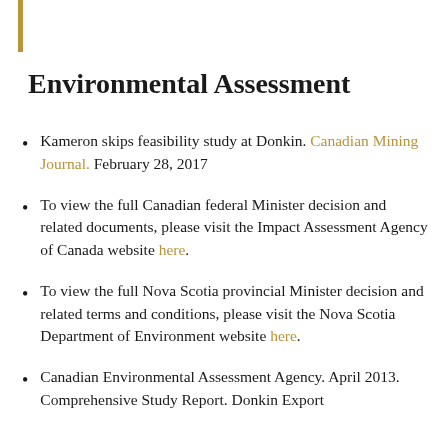Environmental Assessment
Kameron skips feasibility study at Donkin. Canadian Mining Journal. February 28, 2017
To view the full Canadian federal Minister decision and related documents, please visit the Impact Assessment Agency of Canada website here.
To view the full Nova Scotia provincial Minister decision and related terms and conditions, please visit the Nova Scotia Department of Environment website here.
Canadian Environmental Assessment Agency. April 2013. Comprehensive Study Report. Donkin Export